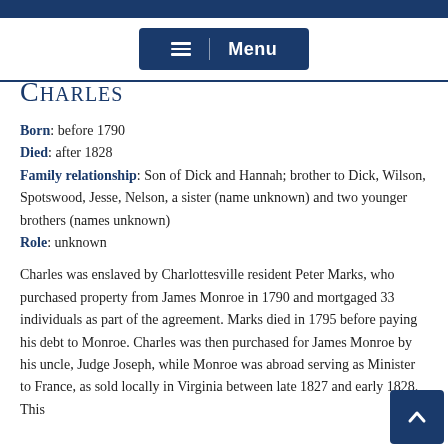Menu
Charles
Born: before 1790
Died: after 1828
Family relationship: Son of Dick and Hannah; brother to Dick, Wilson, Spotswood, Jesse, Nelson, a sister (name unknown) and two younger brothers (names unknown)
Role: unknown
Charles was enslaved by Charlottesville resident Peter Marks, who purchased property from James Monroe in 1790 and mortgaged 33 individuals as part of the agreement. Marks died in 1795 before paying his debt to Monroe. Charles was then purchased for James Monroe by his uncle, Judge Joseph, while Monroe was abroad serving as Minister to France, as sold locally in Virginia between late 1827 and early 1828. This